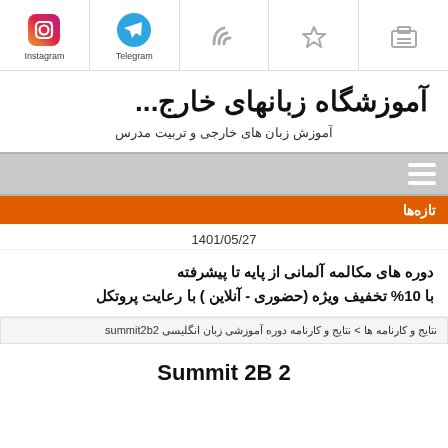[Figure (infographic): Social media icon bar with Instagram, Telegram, RSS, bookmark, and print icons]
آموزشگاه زبانهای خارج...
آموزش زبان های خارجی و تربیت مدرس
[Figure (infographic): Gray navigation bar with hamburger menu icon on right]
تازه‌ها
1401/05/27
دوره های مکالمه آلمانی  از پایه تا پیشرفته با 10% تخفیف ویژه (حضوری - آنلاین ) با رعایت پروتکل
نتایج و کارنامه ها  >  نتایج و کارنامه دوره آموزشی زبان انگلیسی  summit2b2
Summit 2B 2